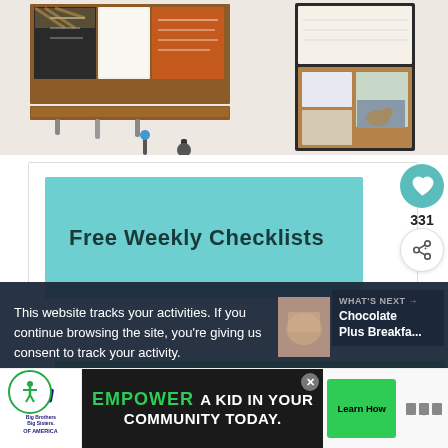[Figure (photo): Photo of wall-mounted organizational system with cork boards, chalkboard, whiteboard, mail organizer, and key hooks. On the right side is a separate cork/bulletin board with photos and notes pinned to it.]
[Figure (screenshot): Screenshot of a webpage card showing 'Free Weekly Checklists' text on a teal/cyan background, with a heart (like) button showing 331 and a share button on the right side.]
This website tracks your activities. If you continue browsing the site, you're giving us cons... your activity.
WHAT'S NEXT → Chocolate Plus Breakfa...
[Figure (screenshot): Ad banner: Big Brothers Big Sisters of America logo on left, center black panel with green 'EMPOWER' text followed by 'A KID IN YOUR COMMUNITY TODAY.' with a green Learn How button, and a brand logo on the right. An X close button is visible. A green bar appears at the top of the ad area.]